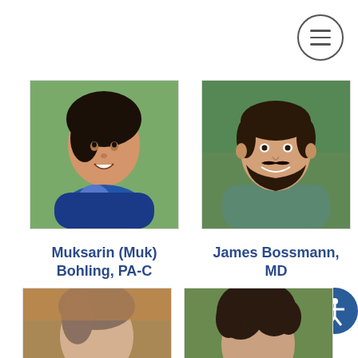[Figure (other): Hamburger menu icon button (three horizontal lines in a circle)]
[Figure (photo): Headshot of Muksarin (Muk) Bohling, PA-C, a woman with short dark hair smiling outdoors]
Muksarin (Muk) Bohling, PA-C
Physician Assistant
[Figure (photo): Headshot of James Bossmann, MD, a man with short dark hair and beard smiling outdoors]
James Bossmann, MD
Psychiatrist
[Figure (other): Accessibility icon button (person in circle on blue background)]
[Figure (photo): Partial headshot of a provider (bottom of page, left), person with light hair outdoors]
[Figure (photo): Partial headshot of a provider (bottom of page, right), person with curly dark hair]